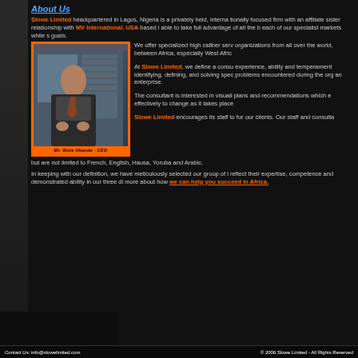About Us
Slowe Limited headquartered in Lagos, Nigeria is a privately held, internationally focused firm with an affiliate sister relationship with MV International, USA based in able to take full advantage of all the b each of our specialist markets while s goals.
[Figure (photo): Photo of Mr. Wole Akande - CEO seated at a desk in an office, wearing a suit. Photo has an orange border and caption below reading 'Mr. Wole Akande - CEO']
We offer specialized high caliber serv organizations from all over the world, between Africa, especially West Afric
At Slowe Limited, we define a consu experience, ability and temperament identifying, defining, and solving spec problems encountered during the org an enterprise.
The consultant is interested in visuali plans and recommendations which e effectively to change as it takes place
Slowe Limited encourages its staff to for our clients. Our staff and consulta but are not limited to French, English, Hausa, Yoruba and Arabic.
In keeping with our definition, we have meticulously selected our group of i reflect their expertise, competence and demonstrated ability in our three di more about how we can help you succeed in Africa.
Contact Us: info@slowelimited.com   © 2006 Slowe Limited - All Rights Reserved